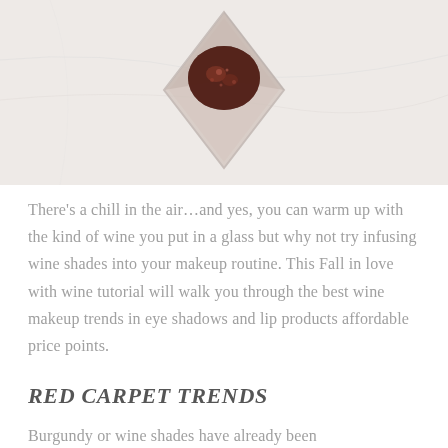[Figure (photo): Top-down view of an open small square glass jar of burgundy/wine-colored shimmer eyeshadow or pigment, on a white/light marble background.]
There’s a chill in the air…and yes, you can warm up with the kind of wine you put in a glass but why not try infusing wine shades into your makeup routine. This Fall in love with wine tutorial will walk you through the best wine makeup trends in eye shadows and lip products affordable price points.
RED CARPET TRENDS
Burgundy or wine shades have already been